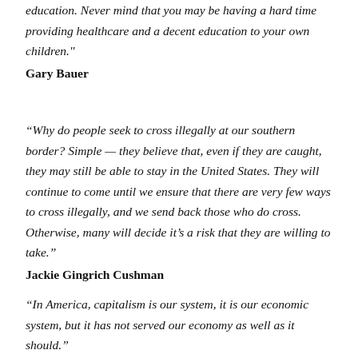education. Never mind that you may be having a hard time providing healthcare and a decent education to your own children."
Gary Bauer
"Why do people seek to cross illegally at our southern border? Simple — they believe that, even if they are caught, they may still be able to stay in the United States. They will continue to come until we ensure that there are very few ways to cross illegally, and we send back those who do cross. Otherwise, many will decide it's a risk that they are willing to take."
Jackie Gingrich Cushman
"In America, capitalism is our system, it is our economic system, but it has not served our economy as well as it should."